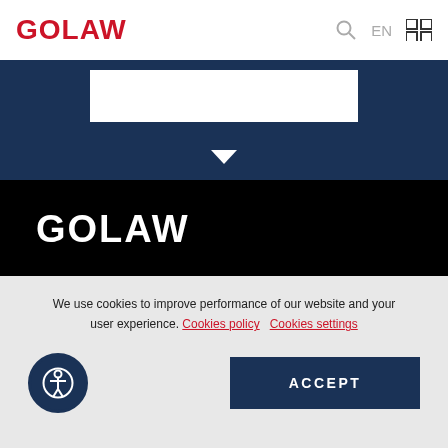GOLAW
[Figure (screenshot): GOLAW website header with logo in red, search icon, EN language toggle, and grid icon on white background, followed by dark navy search bar section with white search box and downward arrow]
[Figure (logo): GOLAW white logo on black background footer section]
Kyiv
Berlin
We use cookies to improve performance of our website and your user experience. Cookies policy   Cookies settings
ACCEPT